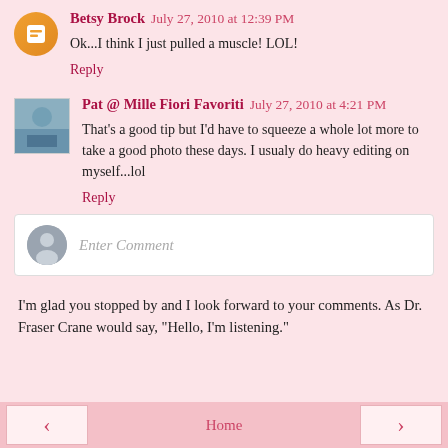Betsy Brock July 27, 2010 at 12:39 PM
Ok...I think I just pulled a muscle! LOL!
Reply
Pat @ Mille Fiori Favoriti July 27, 2010 at 4:21 PM
That's a good tip but I'd have to squeeze a whole lot more to take a good photo these days. I usualy do heavy editing on myself...lol
Reply
[Figure (other): Comment input box with generic user avatar and placeholder text 'Enter Comment']
I'm glad you stopped by and I look forward to your comments. As Dr. Fraser Crane would say, "Hello, I'm listening."
< Home >